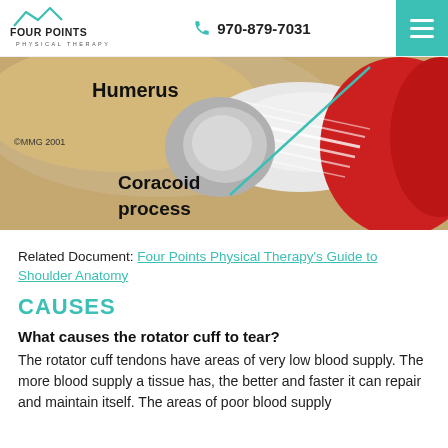Four Points Physical Therapy | 970-879-7031
[Figure (illustration): Medical illustration of shoulder anatomy showing Humerus and Coracoid process labels, with a teal line pointing to the coracoid process. Copyright MMG 2001.]
©MMG 2001
Related Document: Four Points Physical Therapy's Guide to Shoulder Anatomy
CAUSES
What causes the rotator cuff to tear?
The rotator cuff tendons have areas of very low blood supply. The more blood supply a tissue has, the better and faster it can repair and maintain itself. The areas of poor blood supply